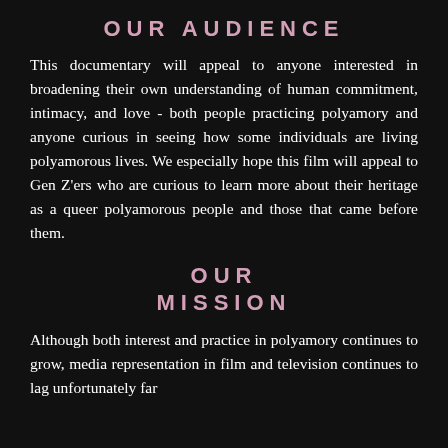OUR AUDIENCE
This documentary will appeal to anyone interested in broadening their own understanding of human commitment, intimacy, and love - both people practicing polyamory and anyone curious in seeing how some individuals are living polyamorous lives. We especially hope this film will appeal to Gen Z'ers who are curious to learn more about their heritage as a queer polyamorous people and those that came before them.
OUR MISSION
Although both interest and practice in polyamory continues to grow, media representation in film and television continues to lag unfortunately far